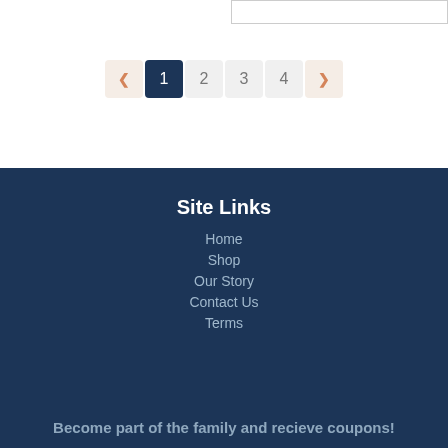[Figure (other): Search input box partially visible at top right]
← 1 2 3 4 →
Site Links
Home
Shop
Our Story
Contact Us
Terms
Become part of the family and recieve coupons!